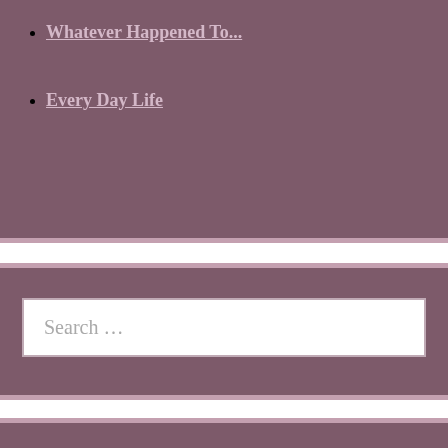Whatever Happened To...
Every Day Life
Search ...
Recent Posts
Quote Of The Week
The Smile